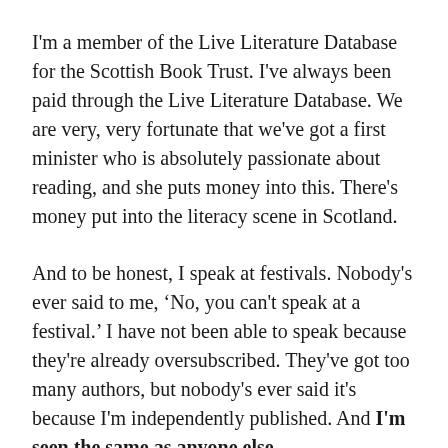I'm a member of the Live Literature Database for the Scottish Book Trust. I've always been paid through the Live Literature Database. We are very, very fortunate that we've got a first minister who is absolutely passionate about reading, and she puts money into this. There's money put into the literacy scene in Scotland.
And to be honest, I speak at festivals. Nobody's ever said to me, ‘No, you can't speak at a festival.’ I have not been able to speak because they're already oversubscribed. They've got too many authors, but nobody's ever said it's because I'm independently published. And I'm seen the same as anyone else.